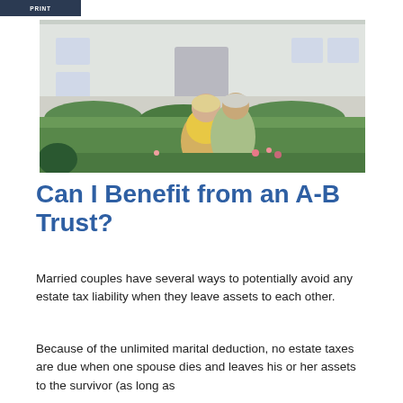PRINT
[Figure (photo): An older couple sitting on a lawn in front of a large white house. The woman leans back against the man, both smiling. She wears a yellow top and white pants; he wears a light green shirt. The background shows a well-maintained home with columns and green bushes.]
Can I Benefit from an A-B Trust?
Married couples have several ways to potentially avoid any estate tax liability when they leave assets to each other.
Because of the unlimited marital deduction, no estate taxes are due when one spouse dies and leaves his or her assets to the survivor (as long as